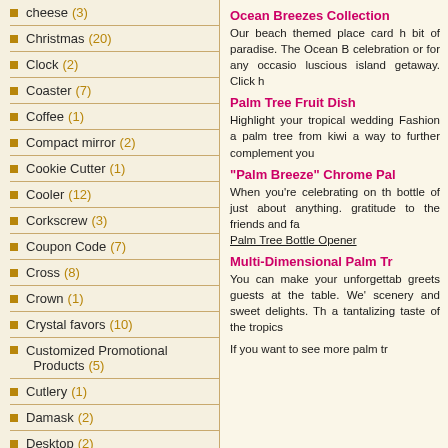cheese (3)
Christmas (20)
Clock (2)
Coaster (7)
Coffee (1)
Compact mirror (2)
Cookie Cutter (1)
Cooler (12)
Corkscrew (3)
Coupon Code (7)
Cross (8)
Crown (1)
Crystal favors (10)
Customized Promotional Products (5)
Cutlery (1)
Damask (2)
Desktop (2)
Ocean Breezes Collection
Our beach themed place card h bit of paradise. The Ocean B celebration or for any occasio luscious island getaway. Click h
Palm Tree Fruit Dish
Highlight your tropical wedding Fashion a palm tree from kiwi a way to further complement you
"Palm Breeze" Chrome Pal
When you're celebrating on th bottle of just about anything. gratitude to the friends and fa Palm Tree Bottle Opener
Multi-Dimensional Palm Tr
You can make your unforgettab greets guests at the table. We' scenery and sweet delights. Th a tantalizing taste of the tropics
If you want to see more palm tr